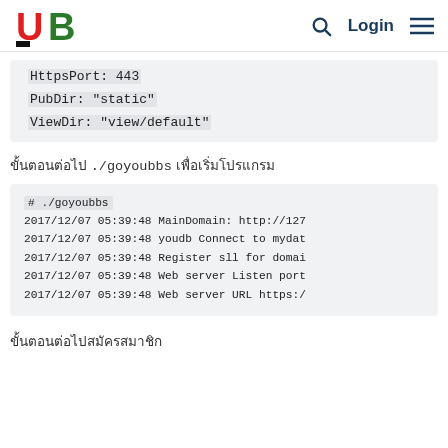UB [logo] | Search | Login | Menu
[Figure (screenshot): Code block showing HttpsPort: 443, PubDir: "static", ViewDir: "view/default"]
ขั้นตอนต่อไป ./goyoubbs เพื่อเริ่มโปรแกรม
[Figure (screenshot): Terminal output showing: # ./goyoubbs, 2017/12/07 05:39:48 MainDomain: http://127..., 2017/12/07 05:39:48 youdb Connect to mydat..., 2017/12/07 05:39:48 Register sll for domai..., 2017/12/07 05:39:48 Web server Listen port..., 2017/12/07 05:39:48 Web server URL https:/...]
ขั้นตอนต่อไปสมัครสมาชิก